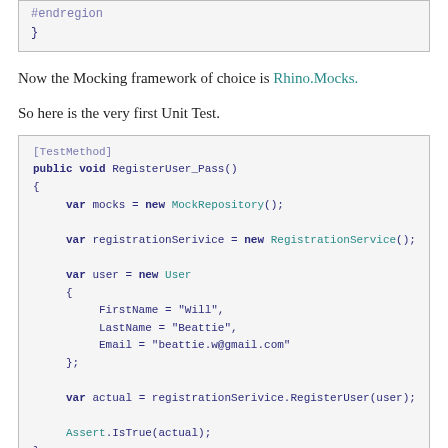[Figure (screenshot): Top code snippet showing #endregion and closing brace]
Now the Mocking framework of choice is Rhino.Mocks.
So here is the very first Unit Test.
[Figure (screenshot): Code block showing [TestMethod] public void RegisterUser_Pass() with var mocks, registrationSerivice, user object with FirstName, LastName, Email, var actual, and Assert.IsTrue(actual)]
Note this test will fail as RegisterUser has not been